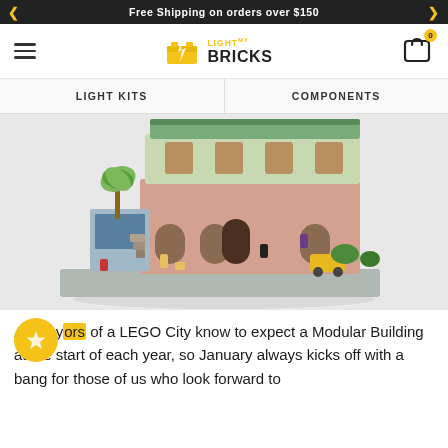Free Shipping on orders over $150
[Figure (logo): Light My Bricks logo with hamburger menu and cart icon]
LIGHT KITS   COMPONENTS
[Figure (photo): LEGO modular building set with minifigures, palm tree, multi-story building with green roof]
All mayors of a LEGO City know to expect a Modular Building at the start of each year, so January always kicks off with a bang for those of us who look forward to